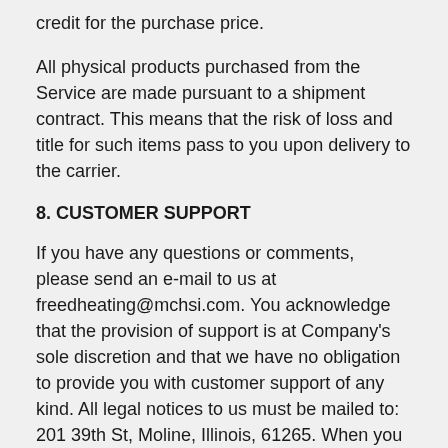credit for the purchase price.
All physical products purchased from the Service are made pursuant to a shipment contract. This means that the risk of loss and title for such items pass to you upon delivery to the carrier.
8. CUSTOMER SUPPORT
If you have any questions or comments, please send an e-mail to us at freedheating@mchsi.com. You acknowledge that the provision of support is at Company's sole discretion and that we have no obligation to provide you with customer support of any kind. All legal notices to us must be mailed to: 201 39th St, Moline, Illinois, 61265. When you communicate with us electronically, you consent to receive communications from us electronically. You